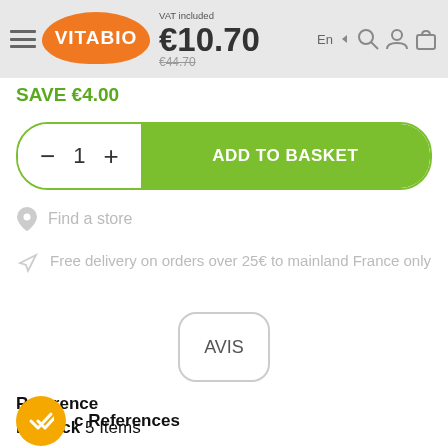VAT included  €10.70  €44.70  En
SAVE €4.00
- 1 + ADD TO BASKET
Find a store
Free delivery on orders over 25€ to mainland France only
AVIS
Reference
In stock 5 Items
c References